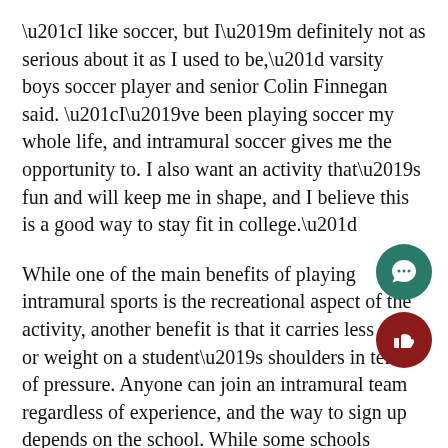“I like soccer, but I’m definitely not as serious about it as I used to be,” varsity boys soccer player and senior Colin Finnegan said. “I’ve been playing soccer my whole life, and intramural soccer gives me the opportunity to. I also want an activity that’s fun and will keep me in shape, and I believe this is a good way to stay fit in college.”
While one of the main benefits of playing intramural sports is the recreational aspect of the activity, another benefit is that it carries less stress or weight on a student’s shoulders in terms of pressure. Anyone can join an intramural team regardless of experience, and the way to sign up depends on the school. While some schools require a small fee to become a member, other schools simply require a request to join a team.
“I decided to play intramural basketball instead of
[Figure (other): Teal circular chat/comment button icon]
[Figure (other): Dark red circular thumbs-up/like button icon]